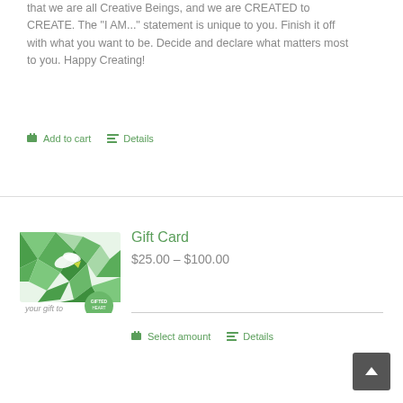that we are all Creative Beings, and we are CREATED to CREATE. The "I AM..." statement is unique to you. Finish it off with what you want to be. Decide and declare what matters most to you. Happy Creating!
Add to cart
Details
Gift Card
$25.00 – $100.00
[Figure (illustration): Gift card product image with green geometric polygon design and circular logo badge reading 'your gift to']
Select amount
Details